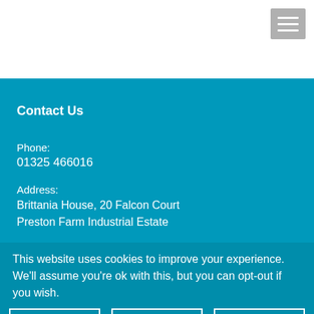[Figure (other): Hamburger menu icon button with three horizontal white lines on a grey background, positioned in top-right corner]
Contact Us
Phone:
01325 466016
Address:
Brittania House, 20 Falcon Court
Preston Farm Industrial Estate
This website uses cookies to improve your experience. We'll assume you're ok with this, but you can opt-out if you wish.
Your Settings | ACCEPT | REJECT